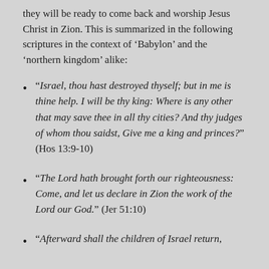they will be ready to come back and worship Jesus Christ in Zion. This is summarized in the following scriptures in the context of ‘Babylon’ and the ‘northern kingdom’ alike:
“Israel, thou hast destroyed thyself; but in me is thine help. I will be thy king: Where is any other that may save thee in all thy cities? And thy judges of whom thou saidst, Give me a king and princes?” (Hos 13:9-10)
“The Lord hath brought forth our righteousness: Come, and let us declare in Zion the work of the Lord our God.” (Jer 51:10)
“Afterward shall the children of Israel return,